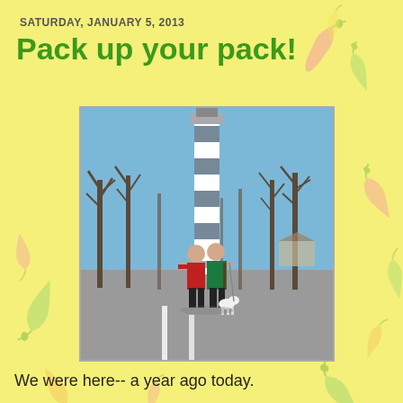SATURDAY, JANUARY 5, 2013
Pack up your pack!
[Figure (photo): Two people standing in a parking lot in winter coats (one red, one green) with a small white dog, in front of a tall striped lighthouse or tower, surrounded by bare trees on a clear sunny day.]
We were here-- a year ago today.